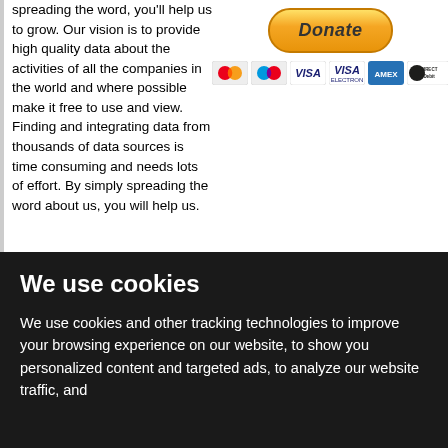spreading the word, you'll help us to grow. Our vision is to provide high quality data about the activities of all the companies in the world and where possible make it free to use and view. Finding and integrating data from thousands of data sources is time consuming and needs lots of effort. By simply spreading the word about us, you will help us.
[Figure (other): PayPal Donate button with payment method icons below (Mastercard, Maestro, VISA, VISA Electron, American Express, Direct Debit)]
We use cookies
We use cookies and other tracking technologies to improve your browsing experience on our website, to show you personalized content and targeted ads, to analyze our website traffic, and